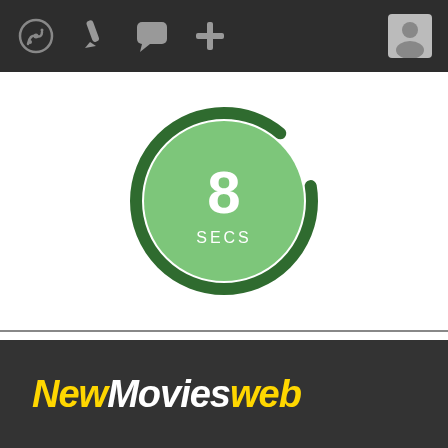[Figure (screenshot): Dark top navigation bar with icons: speedometer/dashboard, pencil/brush, speech bubble, plus sign, and a user profile avatar on the right]
[Figure (donut-chart): Circular timer/gauge showing '8' in large white text with 'SECS' below, green filled circle with dark green arc border, mostly complete ring with small gap at top-left]
[Figure (logo): NewMoviesweb logo on dark grey background — 'New' in yellow italic bold, 'Movies' in white italic bold, 'web' in yellow italic bold]